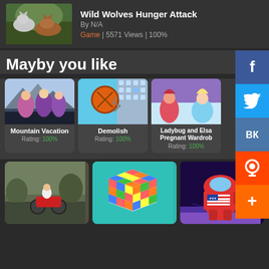Wild Wolves Hunger Attack
By N/A
Game | 5571 Views | 100%
Mayby you like
[Figure (screenshot): Mountain Vacation game thumbnail showing anime girls in winter outfits]
Mountain Vacation
Rating: 100%
[Figure (screenshot): Demolish game thumbnail showing a ball smashing a building]
Demolish
Rating: 100%
[Figure (screenshot): Ladybug and Elsa Pregnant Wardrobe game thumbnail]
Ladybug and Elsa Pregnant Wardrobe
Rating: 100%
[Figure (screenshot): Motorcycle game thumbnail showing dirt bike rider]
[Figure (screenshot): Rubik's cube puzzle game thumbnail on teal background]
[Figure (screenshot): Among Us character with American flag pattern on dark space background]